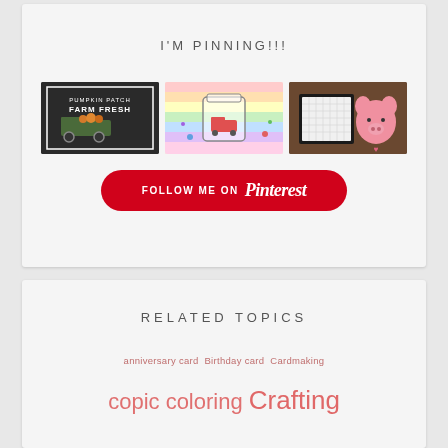I'M PINNING!!!
[Figure (photo): Three Pinterest pin images: a Farm Fresh chalkboard sign with truck, a rainbow-colored mason jar card, and a pink pig with calendar desktop piece]
[Figure (illustration): Follow me on Pinterest button - red rounded rectangle with white text]
RELATED TOPICS
anniversary card  Birthday card  Cardmaking
copic coloring  Crafting